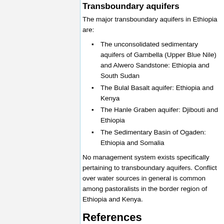The major transboundary aquifers in Ethiopia are:
The unconsolidated sedimentary aquifers of Gambella (Upper Blue Nile) and Alwero Sandstone: Ethiopia and South Sudan
The Bulal Basalt aquifer: Ethiopia and Kenya
The Hanle Graben aquifer: Djibouti and Ethiopia
The Sedimentary Basin of Ogaden: Ethiopia and Somalia
No management system exists specifically pertaining to transboundary aquifers. Conflict over water sources in general is common among pastoralists in the border region of Ethiopia and Kenya.
References
Many of the references below…